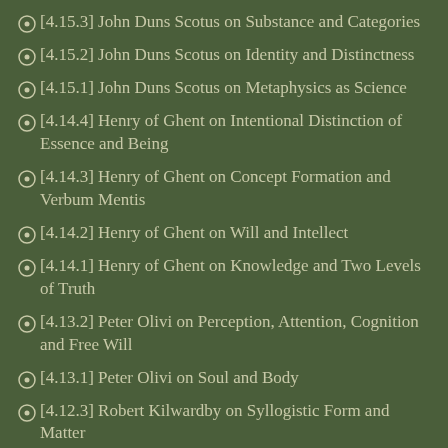[4.15.3] John Duns Scotus on Substance and Categories
[4.15.2] John Duns Scotus on Identity and Distinctness
[4.15.1] John Duns Scotus on Metaphysics as Science
[4.14.4] Henry of Ghent on Intentional Distinction of Essence and Being
[4.14.3] Henry of Ghent on Concept Formation and Verbum Mentis
[4.14.2] Henry of Ghent on Will and Intellect
[4.14.1] Henry of Ghent on Knowledge and Two Levels of Truth
[4.13.2] Peter Olivi on Perception, Attention, Cognition and Free Will
[4.13.1] Peter Olivi on Soul and Body
[4.12.3] Robert Kilwardby on Syllogistic Form and Matter
[4.12.2] Robert Kilwardby on Active Sense Perception and Cognition